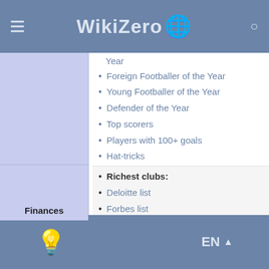WikiZero
Year
Foreign Footballer of the Year
Young Footballer of the Year
Defender of the Year
Top scorers
Players with 100+ goals
Hat-tricks
Finances
Richest clubs:
Deloitte list
Forbes list
EN